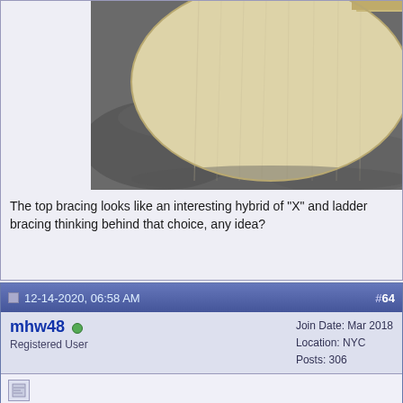[Figure (photo): Close-up photo of a guitar top plate (spruce or similar wood) showing a circular/oval shape resting on dark grey foam or carpet, with some wooden bracing visible. The wood is light cream/blonde colored.]
The top bracing looks like an interesting hybrid of "X" and ladder bracing thinking behind that choice, any idea?
12-14-2020, 06:58 AM
#64
mhw48
Registered User
Join Date: Mar 2018
Location: NYC
Posts: 306
Quote:
Originally Posted by Alan Carruth
Chladni patterns are simply a 'tech' version of 'tap tone' tuning, with the advantage that you get to see the patterns